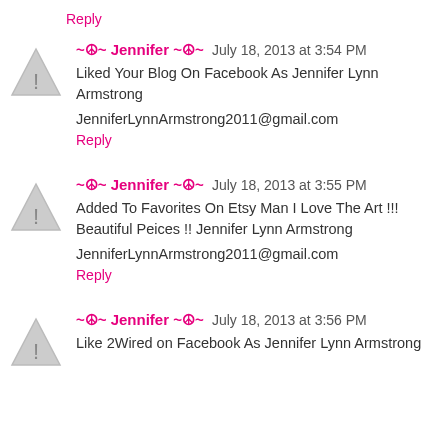Reply
~☮~ Jennifer ~☮~ July 18, 2013 at 3:54 PM
Liked Your Blog On Facebook As Jennifer Lynn Armstrong

JenniferLynnArmstrong2011@gmail.com
Reply
~☮~ Jennifer ~☮~ July 18, 2013 at 3:55 PM
Added To Favorites On Etsy Man I Love The Art !!! Beautiful Peices !! Jennifer Lynn Armstrong

JenniferLynnArmstrong2011@gmail.com
Reply
~☮~ Jennifer ~☮~ July 18, 2013 at 3:56 PM
Like 2Wired on Facebook As Jennifer Lynn Armstrong